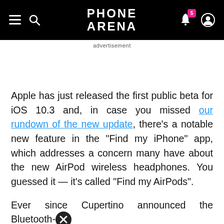PhoneArena
advertisement
Apple has just released the first public beta for iOS 10.3 and, in case you missed our rundown of the new update, there's a notable new feature in the "Find my iPhone" app, which addresses a concern many have about the new AirPod wireless headphones. You guessed it — it's called "Find my AirPods".
Ever since Cupertino announced the Bluetooth-connected earphones, the potential for losing them has become a regularly-used punchline in about 60% of